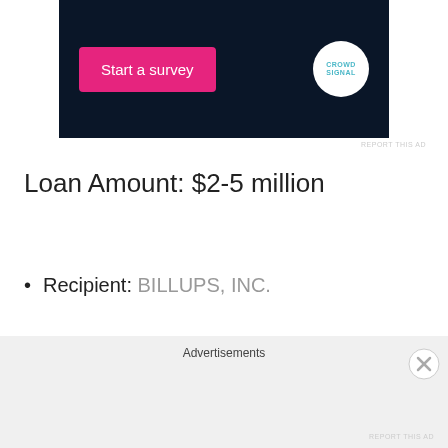[Figure (other): Advertisement banner with dark navy background, pink 'Start a survey' button, and CrowdSignal logo circle]
REPORT THIS AD
Loan Amount: $2-5 million
Recipient: BILLUPS, INC.
Location: LAKE OSWEGO, OR
Advertisements
REPORT THIS AD